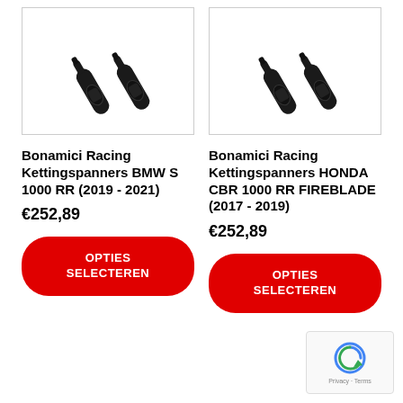[Figure (photo): Two black Bonamici Racing chain adjusters/kettingspanners for BMW S 1000 RR]
Bonamici Racing Kettingspanners BMW S 1000 RR (2019 - 2021)
€252,89
OPTIES SELECTEREN
[Figure (photo): Two black Bonamici Racing chain adjusters/kettingspanners for Honda CBR 1000 RR Fireblade]
Bonamici Racing Kettingspanners HONDA CBR 1000 RR FIREBLADE (2017 - 2019)
€252,89
OPTIES SELECTEREN
[Figure (logo): reCAPTCHA widget with Privacy and Terms links]